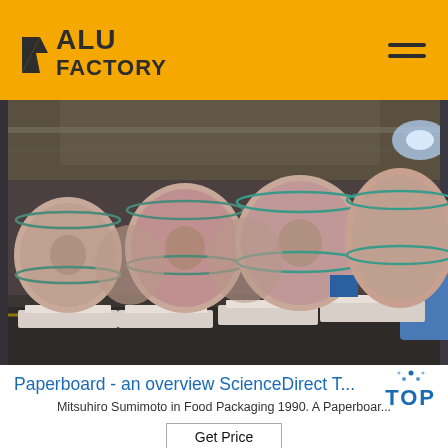ALU FACTORY
[Figure (photo): Industrial warehouse interior showing large cylindrical rolls of material wrapped in brown paper packaging, secured with strapping, placed on white pallets on a dark floor. Multiple rolls visible in perspective.]
Paperboard - an overview ScienceDirect T... TOP
Mitsuhiro Sumimoto in Food Packaging 1990. A Paperboar...
Get Price